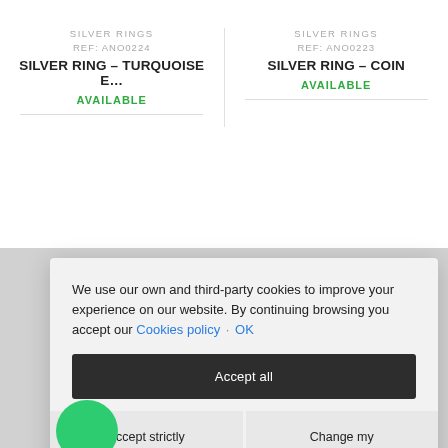SILVER RINGS
REF: ANO0224
SILVER RING – TURQUOISE E…
AVAILABLE
SILVER RINGS
REF: ANO0223
SILVER RING – COIN
AVAILABLE
We use our own and third-party cookies to improve your experience on our website. By continuing browsing you accept our Cookies policy · OK
Accept all
Accept strictly necessary
Change my preferences